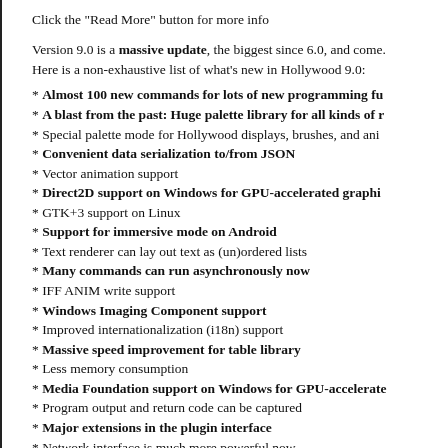Click the "Read More" button for more info
Version 9.0 is a massive update, the biggest since 6.0, and come. Here is a non-exhaustive list of what's new in Hollywood 9.0:
* Almost 100 new commands for lots of new programming fu
* A blast from the past: Huge palette library for all kinds of r
* Special palette mode for Hollywood displays, brushes, and ani
* Convenient data serialization to/from JSON
* Vector animation support
* Direct2D support on Windows for GPU-accelerated graphi
* GTK+3 support on Linux
* Support for immersive mode on Android
* Text renderer can lay out text as (un)ordered lists
* Many commands can run asynchronously now
* IFF ANIM write support
* Windows Imaging Component support
* Improved internationalization (i18n) support
* Massive speed improvement for table library
* Less memory consumption
* Media Foundation support on Windows for GPU-accelerate
* Program output and return code can be captured
* Major extensions in the plugin interface
* Network interface is much more powerful now